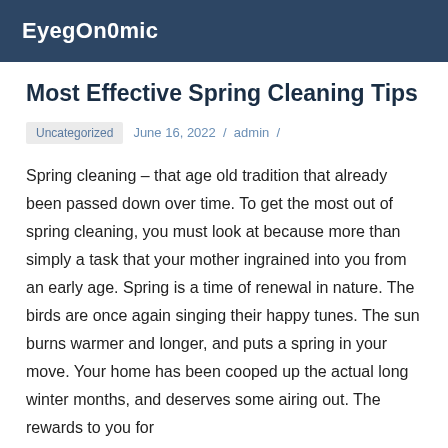EyegOn0mic
Most Effective Spring Cleaning Tips
Uncategorized   June 16, 2022 / admin /
Spring cleaning – that age old tradition that already been passed down over time. To get the most out of spring cleaning, you must look at because more than simply a task that your mother ingrained into you from an early age. Spring is a time of renewal in nature. The birds are once again singing their happy tunes. The sun burns warmer and longer, and puts a spring in your move. Your home has been cooped up the actual long winter months, and deserves some airing out. The rewards to you for